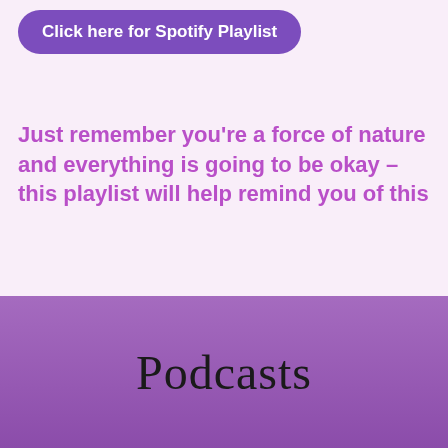[Figure (other): Purple rounded rectangle button with white bold text reading 'Click here for Spotify Playlist']
Just remember you're a force of nature and everything is going to be okay – this playlist will help remind you of this
Podcasts